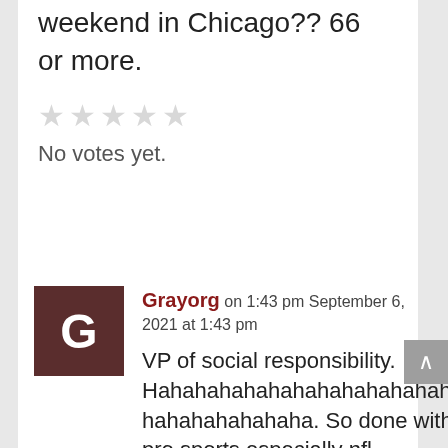shot this weekend in Chicago?? 66 or more.
No votes yet.
Grayorg on 1:43 pm September 6, 2021 at 1:43 pm
VP of social responsibility. Hahahahahahahahahahahahahahaha. So done with pro sports especially nfl